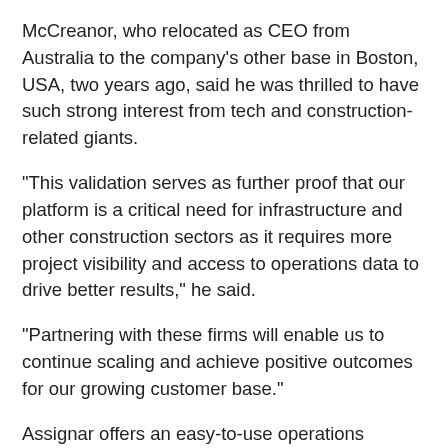McCreanor, who relocated as CEO from Australia to the company's other base in Boston, USA, two years ago, said he was thrilled to have such strong interest from tech and construction-related giants.
“This validation serves as further proof that our platform is a critical need for infrastructure and other construction sectors as it requires more project visibility and access to operations data to drive better results,” he said.
“Partnering with these firms will enable us to continue scaling and achieve positive outcomes for our growing customer base.”
Assignar offers an easy-to-use operations platform for self-perform general and subcontractors on infrastructure projects. It now operates in the US, Australia, New Zealand, and Canada and will look to Europe later in 2022.